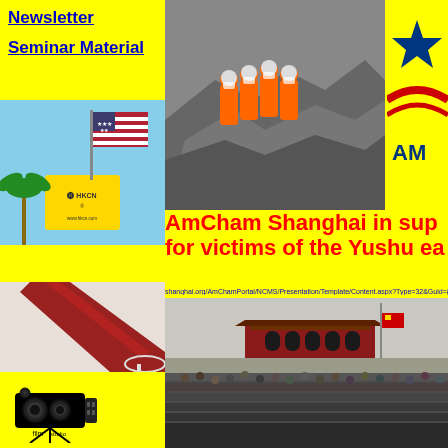Newsletter
Seminar Material
[Figure (photo): American flag and HKCN yellow sign with palm tree in background]
[Figure (photo): Rescue workers in orange suits working through rubble after earthquake]
[Figure (logo): AmCham logo with blue star and red arc, partially visible]
AmCham Shanghai in sup for victims of the Yushu ea
shanghai.org/AmChamPortal/NCMS/Presentation/Template/Content.aspx?Type=32&Guid={C009A4CD-6843-4649-802...
[Figure (photo): Red wine being poured into a glass]
[Figure (illustration): Black and white film studio camera icon with word 'film studio']
[Figure (photo): Large crowd at Tiananmen Square with Chinese flag at half-mast and Tiananmen Gate in background]